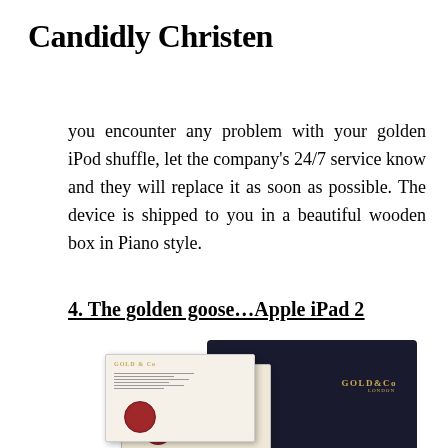Candidly Christen
you encounter any problem with your golden iPod shuffle, let the company's 24/7 service know and they will replace it as soon as possible. The device is shipped to you in a beautiful wooden box in Piano style.
4.  The golden goose…Apple iPad 2
[Figure (photo): Photo showing a Gold & Co branded black case/box and certificate cards with red wax seals, product packaging for a luxury gold Apple device]